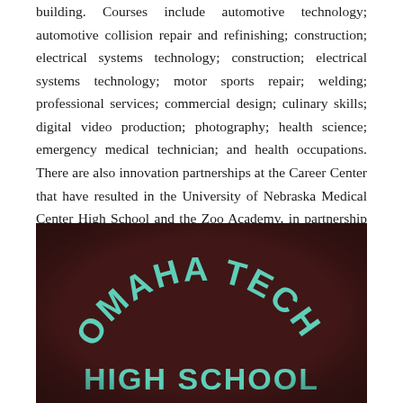building. Courses include automotive technology; automotive collision repair and refinishing; construction; electrical systems technology; construction; electrical systems technology; motor sports repair; welding; professional services; commercial design; culinary skills; digital video production; photography; health science; emergency medical technician; and health occupations. There are also innovation partnerships at the Career Center that have resulted in the University of Nebraska Medical Center High School and the Zoo Academy, in partnership with the Henry Doorly Zoo.
[Figure (photo): Close-up photograph of an embroidered jacket or shirt showing 'OMAHA TECH HIGH SCHOOL' text in teal/mint colored lettering on a dark maroon/brown background.]